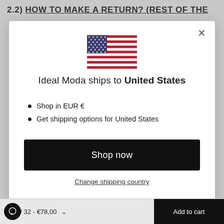2.2) HOW TO MAKE A RETURN? (REST OF THE
[Figure (screenshot): Modal popup dialog showing US flag, shipping information for United States, bullet points about EUR currency and shipping options, a Shop now button, and a Change shipping country link]
Ideal Moda ships to United States
Shop in EUR €
Get shipping options for United States
Shop now
Change shipping country
Blu / 32 - €78,00
Add to cart